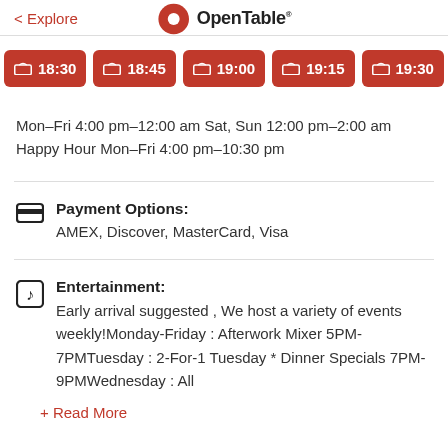< Explore | OpenTable
18:30
18:45
19:00
19:15
19:30
Mon–Fri 4:00 pm–12:00 am Sat, Sun 12:00 pm–2:00 am
Happy Hour Mon–Fri 4:00 pm–10:30 pm
Payment Options:
AMEX, Discover, MasterCard, Visa
Entertainment:
Early arrival suggested , We host a variety of events weekly!Monday-Friday : Afterwork Mixer 5PM-7PMTuesday : 2-For-1 Tuesday * Dinner Specials 7PM-9PMWednesday : All
+ Read More